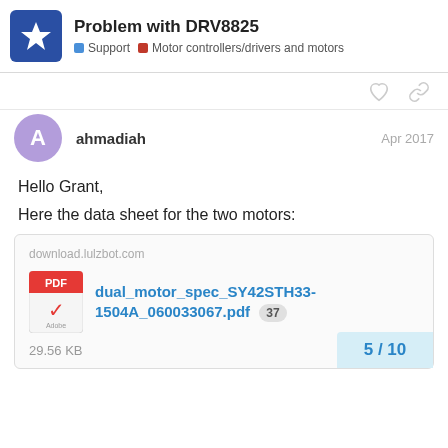Problem with DRV8825 | Support | Motor controllers/drivers and motors
ahmadiah    Apr 2017
Hello Grant,
Here the data sheet for the two motors:
[Figure (other): Attachment card showing a PDF file link: dual_motor_spec_SY42STH33-1504A_060033067.pdf (37 downloads) from download.lulzbot.com, 29.56 KB]
5 / 10